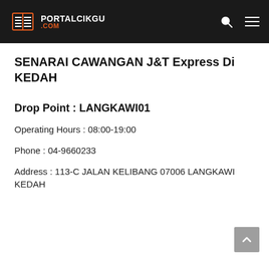PORTALCIKGU .COM
SENARAI CAWANGAN J&T Express Di KEDAH
Drop Point : LANGKAWI01
Operating Hours : 08:00-19:00
Phone : 04-9660233
Address : 113-C JALAN KELIBANG 07006 LANGKAWI KEDAH